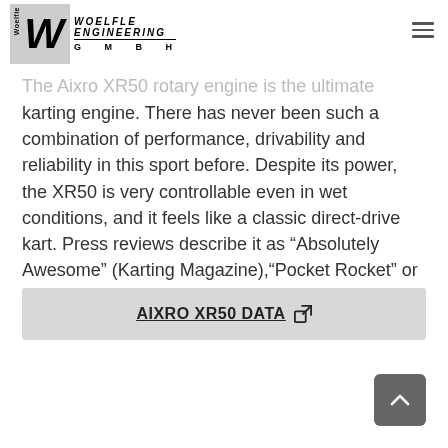WOELFLE ENGINEERING GMBH
The Aixro XR50 rotary engine is the ultimate karting engine. There has never been such a combination of performance, drivability and reliability in this sport before. Despite its power, the XR50 is very controllable even in wet conditions, and it feels like a classic direct-drive kart. Press reviews describe it as “Absolutely Awesome” (Karting Magazine),“Pocket Rocket” or “Karting Nirvana” (karting1.co.uk).
AIXRO XR50 DATA